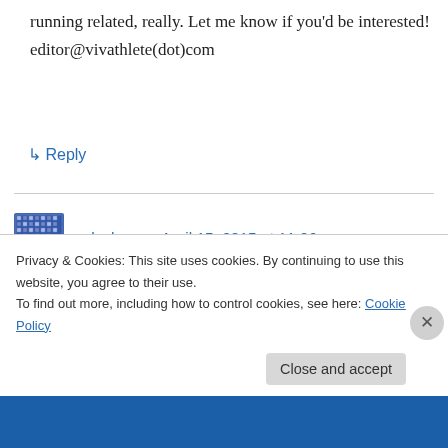running related, really. Let me know if you'd be interested! editor@vivathlete(dot)com
↳ Reply
galoshes on April 15, 2015 at 11:06 pm
naturally like your website however you have to check the spelling on several of your posts. Many of them are rife with spelling issues and I in finding it very troublesome to tell the truth on
Privacy & Cookies: This site uses cookies. By continuing to use this website, you agree to their use.
To find out more, including how to control cookies, see here: Cookie Policy
Close and accept